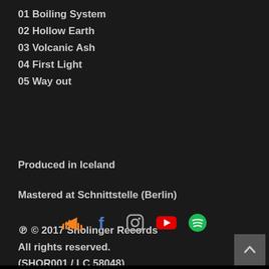01 Boiling System
02 Hollow Earth
03 Volcanic Ash
04 First Light
05 Way out
Produced in Iceland
Mastered at Schnittstelle (Berlin)
℗ © 2017 Sholinger Records
All rights reserved.
(SHOR001 / LC 58048)
[Figure (infographic): Social media icons row: SoundCloud (orange), Facebook (blue), Instagram (gradient/outlined), YouTube (red), Spotify (green)]
[Figure (other): Back to top button with upward arrow chevron, dark grey background]